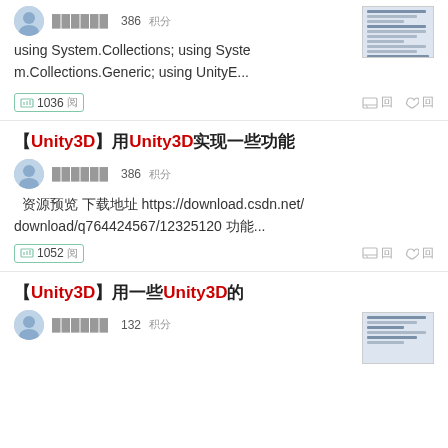using System.Collections; using System.Collections.Generic; using UnityE...
1036 阅
【Unity3D】用Unity3D实现一些功能
██████ 386 积分
资源预览 下载地址 https://download.csdn.net/download/q764424567/12325120 功能...
1052 阅
【Unity3D】用Unity3D实现一些功能的
██████ 132 积分